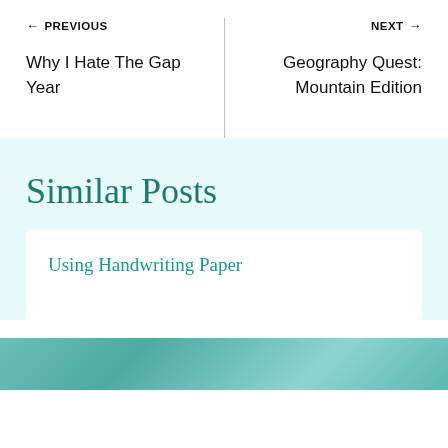← PREVIOUS
Why I Hate The Gap Year
NEXT →
Geography Quest: Mountain Edition
Similar Posts
Using Handwriting Paper
[Figure (photo): Partial photo strip at the bottom of the page]